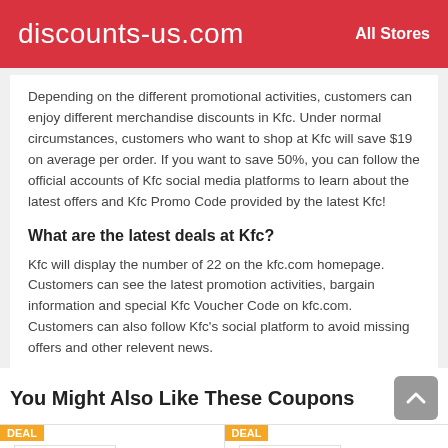discounts-us.com   All Stores
Depending on the different promotional activities, customers can enjoy different merchandise discounts in Kfc. Under normal circumstances, customers who want to shop at Kfc will save $19 on average per order. If you want to save 50%, you can follow the official accounts of Kfc social media platforms to learn about the latest offers and Kfc Promo Code provided by the latest Kfc!
What are the latest deals at Kfc?
Kfc will display the number of 22 on the kfc.com homepage. Customers can see the latest promotion activities, bargain information and special Kfc Voucher Code on kfc.com. Customers can also follow Kfc's social platform to avoid missing offers and other relevent news.
You Might Also Like These Coupons
[Figure (other): Two deal cards: Golden Corral logo and EDF E... logo, each with a DEAL badge]